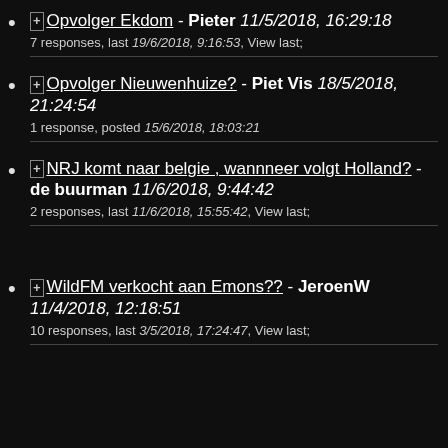⊞ Opvolger Ekdom - Pieter 11/5/2018, 16:29:18
7 responses, last 19/6/2018, 9:16:53, View last;
⊞ Opvolger Nieuwenhuize? - Piet Vis 18/5/2018, 21:24:54
1 response, posted 15/6/2018, 18:03:21
⊞ NRJ komt naar belgie , wannneer volgt Holland? - de buurman 11/6/2018, 9:44:42
2 responses, last 11/6/2018, 15:55:42, View last;
⊞ WildFM verkocht aan Emons?? - JeroenW 11/4/2018, 12:18:51
10 responses, last 3/5/2018, 17:24:47, View last;